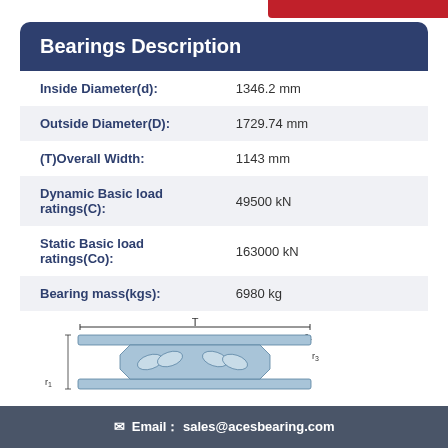Bearings Description
| Property | Value |
| --- | --- |
| Inside Diameter(d): | 1346.2 mm |
| Outside Diameter(D): | 1729.74 mm |
| (T)Overall Width: | 1143 mm |
| Dynamic Basic load ratings(C): | 49500 kN |
| Static Basic load ratings(Co): | 163000 kN |
| Bearing mass(kgs): | 6980 kg |
[Figure (engineering-diagram): Cross-section schematic of a tapered roller bearing showing inner ring, outer ring, rollers, and dimension labels T, r1, r3, r4]
✉ Email：sales@acesbearing.com